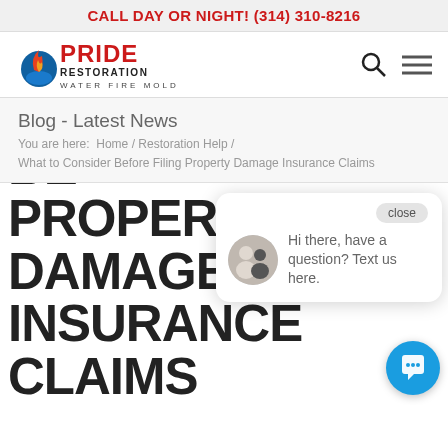CALL DAY OR NIGHT! (314) 310-8216
[Figure (logo): Pride Restoration logo with text WATER FIRE MOLD]
Blog - Latest News
You are here: Home / Restoration Help / What to Consider Before Filing Property Damage Insurance Claims
[Figure (screenshot): Chat popup with close button, avatar photo of two people, and text: Hi there, have a question? Text us here.]
WHAT TO CONSIDER BEFORE PROPERTY DAMAGE INSURANCE CLAIMS